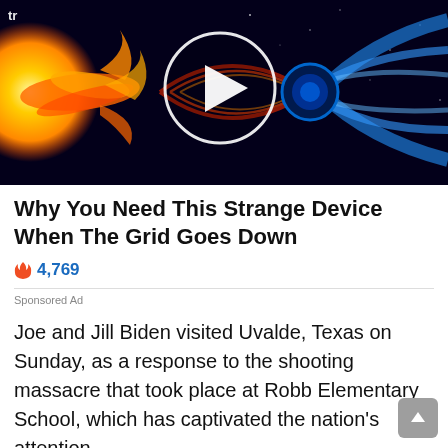[Figure (screenshot): Thumbnail image showing a solar flare/CME hitting Earth's magnetosphere with blue energy field lines, with a circular white play button overlay in the center]
Why You Need This Strange Device When The Grid Goes Down
🔥 4,769
Sponsored Ad
Joe and Jill Biden visited Uvalde, Texas on Sunday, as a response to the shooting massacre that took place at Robb Elementary School, which has captivated the nation's attention.